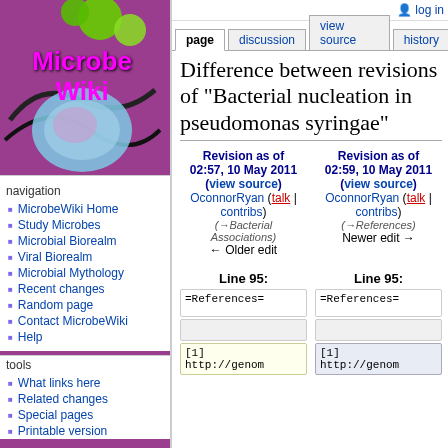[Figure (logo): MicrobeWiki logo with green circles and pink/purple text on purple background]
navigation
MicrobeWiki Home
Study Microbes
Microbial Biorealm
Viral Biorealm
Microbial Mythology
Recent changes
Random page
Contact MicrobeWiki
Help
tools
What links here
Related changes
Special pages
Printable version
log in
Difference between revisions of "Bacterial nucleation in pseudomonas syringae"
Revision as of 02:57, 10 May 2011 (view source) OconnorRyan (talk | contribs) (→Bacterial Associations) ← Older edit
Revision as of 02:59, 10 May 2011 (view source) OconnorRyan (talk | contribs) (→References) Newer edit →
Line 95:
Line 95:
| =References= | =References= |
|  |  |
| [1]
http://genom | [1]
http://genom |